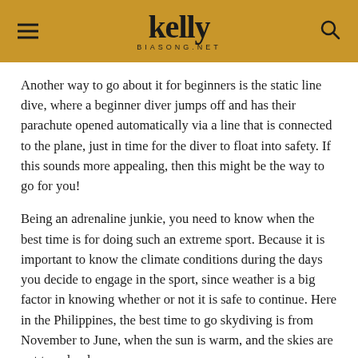kelly BIASONG.NET
Another way to go about it for beginners is the static line dive, where a beginner diver jumps off and has their parachute opened automatically via a line that is connected to the plane, just in time for the diver to float into safety. If this sounds more appealing, then this might be the way to go for you!
Being an adrenaline junkie, you need to know when the best time is for doing such an extreme sport. Because it is important to know the climate conditions during the days you decide to engage in the sport, since weather is a big factor in knowing whether or not it is safe to continue. Here in the Philippines, the best time to go skydiving is from November to June, when the sun is warm, and the skies are not too cloudy.
And inside the country, we also have different skydiving sites